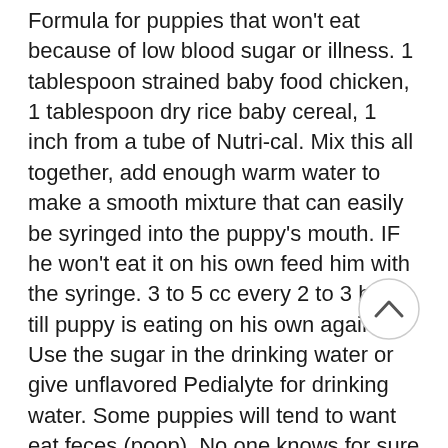Formula for puppies that won't eat because of low blood sugar or illness. 1 tablespoon strained baby food chicken, 1 tablespoon dry rice baby cereal, 1 inch from a tube of Nutri-cal. Mix this all together, add enough warm water to make a smooth mixture that can easily be syringed into the puppy's mouth. IF he won't eat it on his own feed him with the syringe. 3 to 5 cc every 2 to 3 hours till puppy is eating on his own again. Use the sugar in the drinking water or give unflavored Pedialyte for drinking water. Some puppies will tend to want eat feces (poop). No one knows for sure why, but it can be controlled. Watch your puppy closely when it goes potty and as soon as the act is
[Figure (other): A circular scroll-up / back-to-top button with an upward chevron arrow icon]